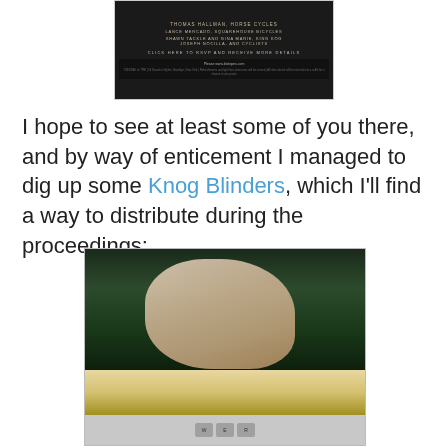[Figure (other): Dark event flyer/poster with light-colored text on black background, showing names of participants including Thomas Hallman, Horse Cycles, Lance Mercado, Squarehouse Bicycles, Shawn Tackle and Gina Marie, King Kog, Joseph Nocilla, and Cyclists. Includes a RSVP link and a bottom bar with URL and disclaimer text.]
I hope to see at least some of you there, and by way of enticement I managed to dig up some Knog Blinders, which I'll find a way to distribute during the proceedings:
[Figure (photo): Photo showing a laptop computer with a Knog Blinder bicycle light device sitting on the keyboard in the foreground. In the background on the laptop screen is an image of a woman sitting on a recumbent bicycle outdoors on grass at night.]